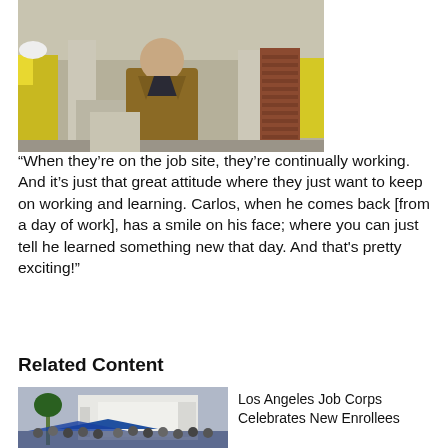[Figure (photo): Man in brown jacket standing at a construction site with workers in yellow vests and concrete blocks in the background]
“When they’re on the job site, they’re continually working. And it’s just that great attitude where they just want to keep on working and learning. Carlos, when he comes back [from a day of work], has a smile on his face; where you can just tell he learned something new that day. And that’s pretty exciting!”
Related Content
[Figure (photo): Outdoor gathering at Los Angeles Job Corps building with crowd and palm tree]
Los Angeles Job Corps Celebrates New Enrollees